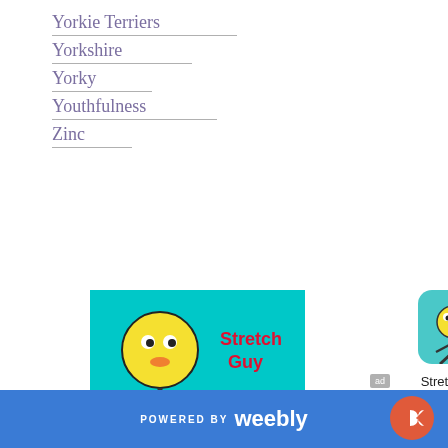Yorkie Terriers
Yorkshire
Yorky
Youthfulness
Zinc
[Figure (illustration): Stretch Guy app promotional banner repeated 4 times showing a stick figure emoji character on teal background]
[Figure (illustration): Stretch Guy app icon: teal rounded square with stick figure emoji]
Stretch Guy
5 free
[Figure (illustration): Green download button with downward arrow]
RSS Feed
[Figure (illustration): Book cover: How to Grow... with LOOK INSIDE badge]
POWERED BY weebly